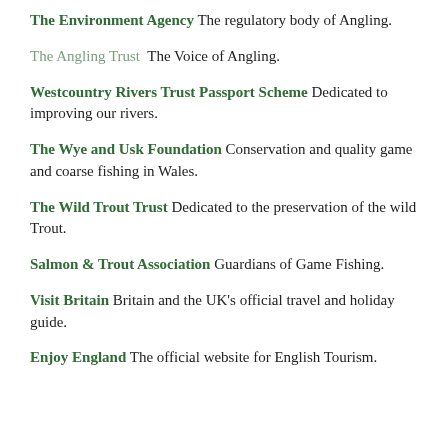The Environment Agency The regulatory body of Angling.
The Angling Trust  The Voice of Angling.
Westcountry Rivers Trust Passport Scheme Dedicated to improving our rivers.
The Wye and Usk Foundation Conservation and quality game and coarse fishing in Wales.
The Wild Trout Trust Dedicated to the preservation of the wild Trout.
Salmon & Trout Association Guardians of Game Fishing.
Visit Britain Britain and the UK's official travel and holiday guide.
Enjoy England The official website for English Tourism.